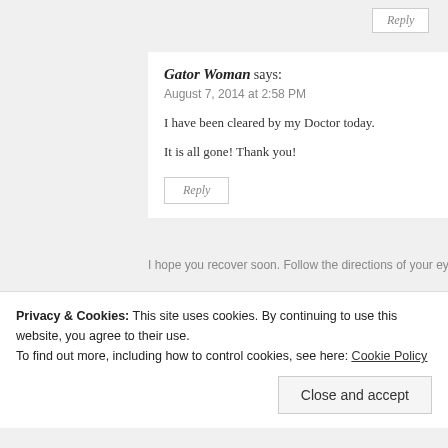Reply
Gator Woman says:
August 7, 2014 at 2:58 PM
I have been cleared by my Doctor today.
It is all gone! Thank you!
Reply
franciscojaviertostado says:
August 2, 2014 at 12:02 PM
Hi Donna,
I hope you recover soon. Follow the directions of your eye that your insura...
Privacy & Cookies: This site uses cookies. By continuing to use this website, you agree to their use.
To find out more, including how to control cookies, see here: Cookie Policy
Close and accept